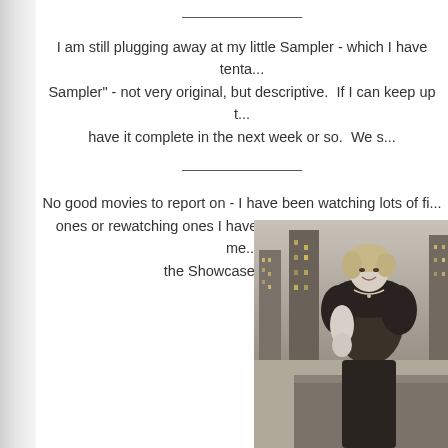___________
I am still plugging away at my little Sampler - which I have tenta... Sampler" - not very original, but descriptive.  If I can keep up t... have it complete in the next week or so.  We s...
___________
No good movies to report on - I have been watching lots of fi... ones or rewatching ones I have seen before.  I did want to me... the Showcase Star is.....
[Figure (photo): Black and white photograph of a blonde woman in a glamorous outfit with fur trim, smiling, standing against a city backdrop at night]